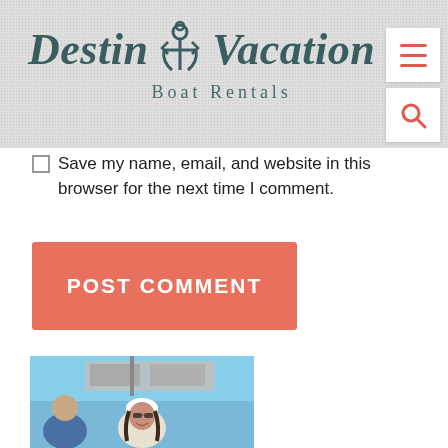[Figure (logo): Destin Vacation Boat Rentals logo with anchor icon on textured grey background, with hamburger menu and search icons on right]
Save my name, email, and website in this browser for the next time I comment.
POST COMMENT
[Figure (photo): Photo of a woman wearing a white cap and sunglasses smiling on a boat, with a man partially visible on the left, blue sky background]